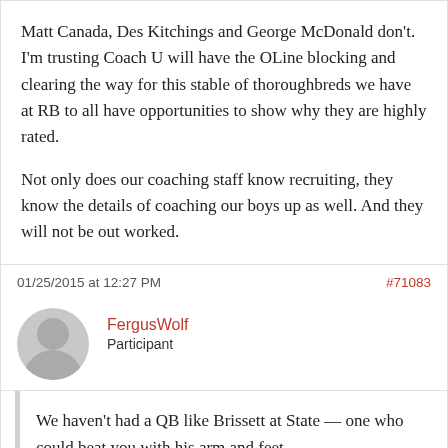Matt Canada, Des Kitchings and George McDonald don't. I'm trusting Coach U will have the OLine blocking and clearing the way for this stable of thoroughbreds we have at RB to all have opportunities to show why they are highly rated.

Not only does our coaching staff know recruiting, they know the details of coaching our boys up as well. And they will not be out worked.
01/25/2015 at 12:27 PM
#71083
FergusWolf
Participant
We haven't had a QB like Brissett at State — one who could beat you with his arm and feet.